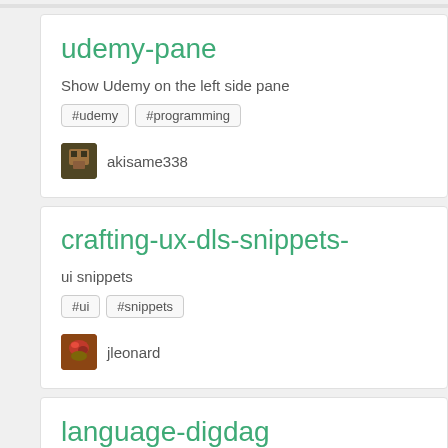udemy-pane
Show Udemy on the left side pane
#udemy
#programming
akisame338
crafting-ux-dls-snippets-
ui snippets
#ui
#snippets
jleonard
language-digdag
Adds syntax highlighting to Digdag file in Ato